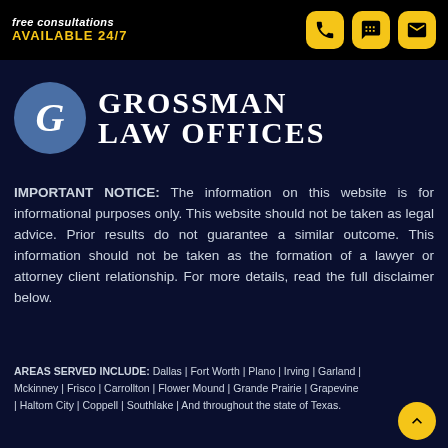free consultations AVAILABLE 24/7
[Figure (logo): Grossman Law Offices logo with stylized G in blue circle and firm name in white serif text]
IMPORTANT NOTICE: The information on this website is for informational purposes only. This website should not be taken as legal advice. Prior results do not guarantee a similar outcome. This information should not be taken as the formation of a lawyer or attorney client relationship. For more details, read the full disclaimer below.
AREAS SERVED INCLUDE: Dallas | Fort Worth | Plano | Irving | Garland | Mckinney | Frisco | Carrollton | Flower Mound | Grande Prairie | Grapevine | Haltom City | Coppell | Southlake | And throughout the state of Texas.